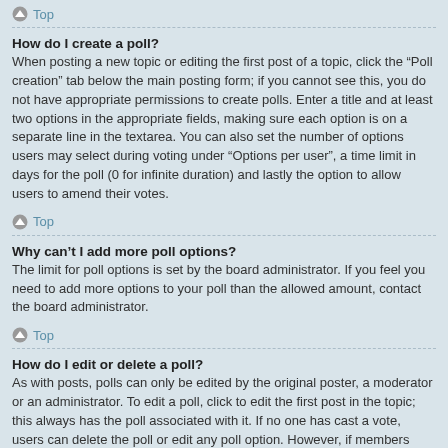Top
How do I create a poll?
When posting a new topic or editing the first post of a topic, click the “Poll creation” tab below the main posting form; if you cannot see this, you do not have appropriate permissions to create polls. Enter a title and at least two options in the appropriate fields, making sure each option is on a separate line in the textarea. You can also set the number of options users may select during voting under “Options per user”, a time limit in days for the poll (0 for infinite duration) and lastly the option to allow users to amend their votes.
Top
Why can’t I add more poll options?
The limit for poll options is set by the board administrator. If you feel you need to add more options to your poll than the allowed amount, contact the board administrator.
Top
How do I edit or delete a poll?
As with posts, polls can only be edited by the original poster, a moderator or an administrator. To edit a poll, click to edit the first post in the topic; this always has the poll associated with it. If no one has cast a vote, users can delete the poll or edit any poll option. However, if members have already placed votes, only moderators or administrators can edit or delete it. This prevents the poll’s options